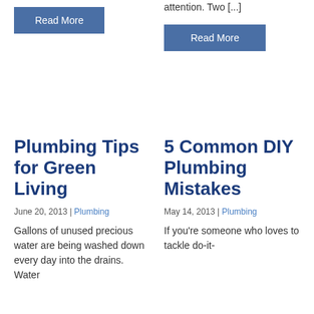Read More
attention. Two [...]
Read More
Plumbing Tips for Green Living
June 20, 2013 | Plumbing
Gallons of unused precious water are being washed down every day into the drains. Water
5 Common DIY Plumbing Mistakes
May 14, 2013 | Plumbing
If you're someone who loves to tackle do-it-